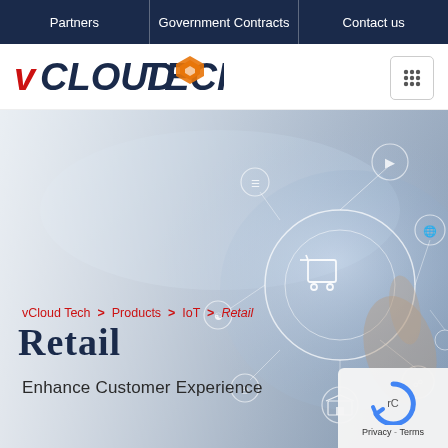Partners | Government Contracts | Contact us
[Figure (logo): vCloud Tech logo with red and navy text and orange diamond icon]
[Figure (illustration): IoT technology concept image showing hands touching digital interface with connected icons including shopping cart, store, globe, and other IoT symbols on a blurred background]
vCloud Tech > Products > IoT > Retail
Retail
Enhance Customer Experience
[Figure (other): Google reCAPTCHA widget with Privacy and Terms links]